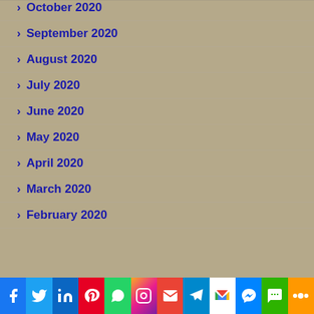October 2020
September 2020
August 2020
July 2020
June 2020
May 2020
April 2020
March 2020
February 2020
[Figure (infographic): Social media sharing bar with icons: Facebook, Twitter, LinkedIn, Pinterest, WhatsApp, Instagram, Email, Telegram, Gmail, Messenger, SMS, More]